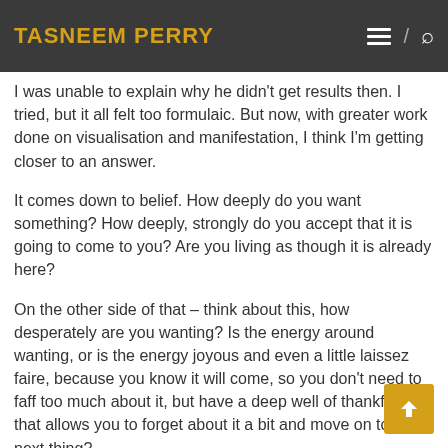TASNEEM PERRY
I was unable to explain why he didn't get results then. I tried, but it all felt too formulaic. But now, with greater work done on visualisation and manifestation, I think I'm getting closer to an answer.
It comes down to belief. How deeply do you want something? How deeply, strongly do you accept that it is going to come to you? Are you living as though it is already here?
On the other side of that – think about this, how desperately are you wanting? Is the energy around wanting, or is the energy joyous and even a little laissez faire, because you know it will come, so you don't need to faff too much about it, but have a deep well of thankfulness that allows you to forget about it a bit and move on to the next thing?
There's so much to manifestation. Much